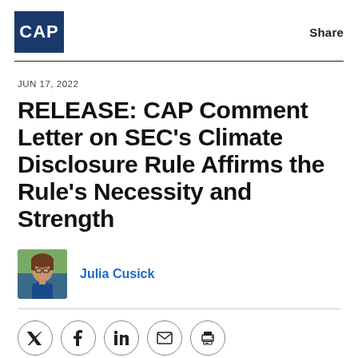CAP | Share
JUN 17, 2022
RELEASE: CAP Comment Letter on SEC's Climate Disclosure Rule Affirms the Rule's Necessity and Strength
Julia Cusick
[Figure (photo): Headshot of Julia Cusick, a woman with brown hair and glasses wearing a blue top, outdoors in nature background]
Social share buttons: Twitter, Facebook, LinkedIn, Email, Print